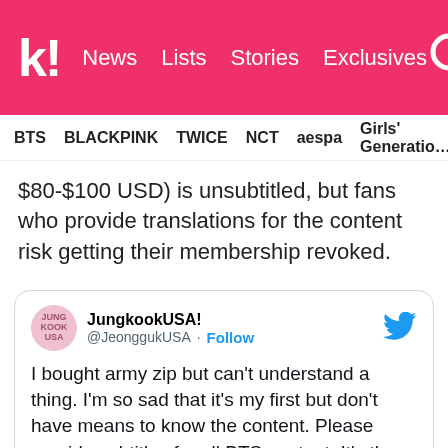k! News Lists Stories Exclusives [search]
BTS  BLACKPINK  TWICE  NCT  aespa  Girls' Generation
$80-$100 USD) is unsubtitled, but fans who provide translations for the content risk getting their membership revoked.
[Figure (screenshot): Embedded tweet from @JeonggukUSA (JungkookUSA!) with Twitter bird logo. Tweet text: I bought army zip but can't understand a thing. I'm so sad that it's my first but don't have means to know the content. Please provide subtitles for all BTS content. It's the least that you can do @BigHitEnt #BighitAddSubs #ArmysWantSubs]